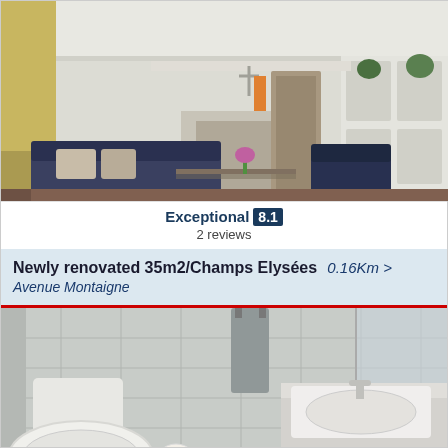[Figure (photo): Interior photo of a renovated Parisian apartment living room with white walls, ornate moldings, built-in bookshelves, fireplace, dark sofa with pillows, armchairs, and wooden floor.]
Exceptional 8.1
2 reviews
Newly renovated 35m2/Champs Elysées  0.16Km >
Avenue Montaigne
[Figure (photo): Interior photo of a newly renovated bathroom with white toilet, grey tile walls, sink with countertop, towel, washing machine, and a teal bag on the floor.]